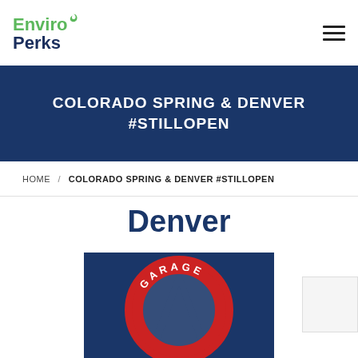EnviroPerks logo and navigation menu
COLORADO SPRING & DENVER #STILLOPEN
HOME / COLORADO SPRING & DENVER #STILLOPEN
Denver
[Figure (logo): Garage logo on blue background with red circular text reading GARAGE and a blue letter A shape, red and white design]